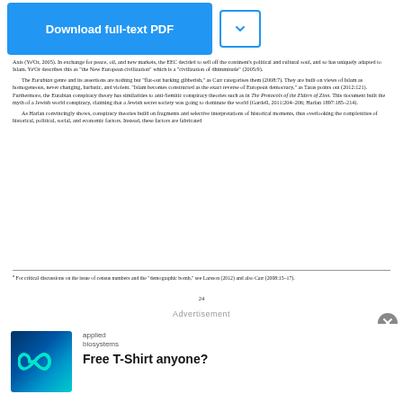Download full-text PDF
several answers, but firstis to undermine the power of Israel and the US (cf. Carr, 2008:7–8; Gardell, 2011a:208), which is the goal for the construction of the Euro-Arab Axis (Ye'Or, 2005). In exchange for peace, oil, and new markets, the EEC decided to sell off the continent's political and cultural soul, and so has uniquely adapted to Islam. Ye'Or describes this as "the New European civilization" which is a "civilization of dhimmitude" (2005:9).
The Eurabian genre and its assertions are nothing but "flat-out barking gibberish," as Carr categorises them (2008:7). They are built on views of Islam as homogeneous, never changing, barbatic, and violent. "Islam becomes constructed as the exact reverse of European democracy," as Taras points out (2012:121). Furthermore, the Eurabian conspiracy theory has similarities to anti-Semitic conspiracy theories such as in The Protocols of the Elders of Zion. This document built the myth of a Jewish world conspiracy, claiming that a Jewish secret society was going to dominate the world (Gardell, 2011:204–206; Harlan 1897:185–214).
As Harlan convincingly shows, conspiracy theories build on fragments and selective interpretations of historical moments, thus overlooking the complexities of historical, political, social, and economic factors. Instead, these factors are fabricated
a For critical discussions on the issue of census numbers and the "demographic bomb," see Larsson (2012) and also Carr (2008:15–17).
24
Advertisement
[Figure (illustration): Applied Biosystems logo and infinity symbol on blue background]
applied biosystems
Free T-Shirt anyone?